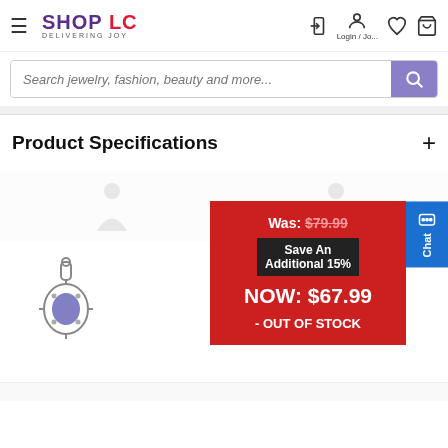[Figure (screenshot): Shop LC website header with hamburger menu, logo, login icon, heart icon, and cart icon]
Search jewelry, fashion, beauty and more...
Product Specifications
[Figure (photo): Silver pendant with blue gemstone, ornate decorative design]
Was: $79.99 Save An Additional 15% NOW: $67.99 - OUT OF STOCK